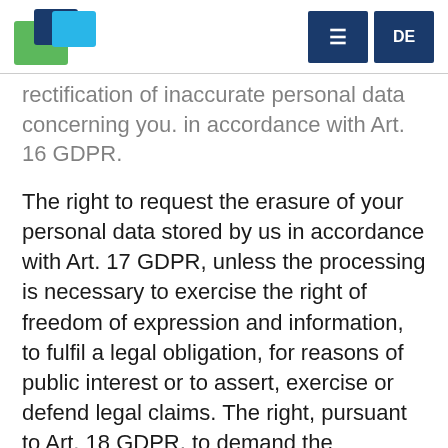[Logo] [Menu] DE
rectification of inaccurate personal data concerning you. in accordance with Art. 16 GDPR.
The right to request the erasure of your personal data stored by us in accordance with Art. 17 GDPR, unless the processing is necessary to exercise the right of freedom of expression and information, to fulfil a legal obligation, for reasons of public interest or to assert, exercise or defend legal claims. The right, pursuant to Art. 18 GDPR, to demand the restriction of the processing of your personal data if the accuracy of the data